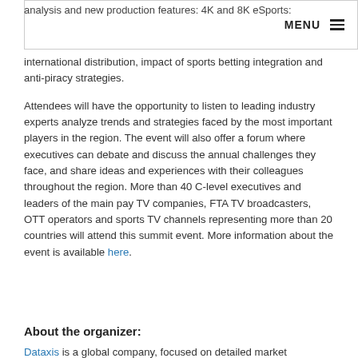MENU
analysis and new production features: 4K and 8K eSports: international distribution, impact of sports betting integration and anti-piracy strategies.
Attendees will have the opportunity to listen to leading industry experts analyze trends and strategies faced by the most important players in the region. The event will also offer a forum where executives can debate and discuss the annual challenges they face, and share ideas and experiences with their colleagues throughout the region. More than 40 C-level executives and leaders of the main pay TV companies, FTA TV broadcasters, OTT operators and sports TV channels representing more than 20 countries will attend this summit event. More information about the event is available here.
About the organizer:
Dataxis is a global company, focused on detailed market